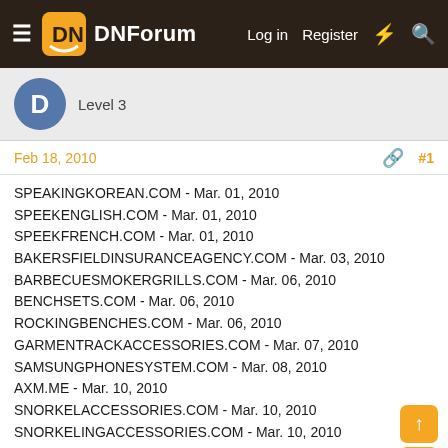DNForum — Log in  Register
Level 3
Feb 18, 2010  #1
SPEAKINGKOREAN.COM - Mar. 01, 2010
SPEEKENGLISH.COM - Mar. 01, 2010
SPEEKFRENCH.COM - Mar. 01, 2010
BAKERSFIELDINSURANCEAGENCY.COM - Mar. 03, 2010
BARBECUESMOKERGRILLS.COM - Mar. 06, 2010
BENCHSETS.COM - Mar. 06, 2010
ROCKINGBENCHES.COM - Mar. 06, 2010
GARMENTRACKACCESSORIES.COM - Mar. 07, 2010
SAMSUNGPHONESYSTEM.COM - Mar. 08, 2010
AXM.ME - Mar. 10, 2010
SNORKELACCESSORIES.COM - Mar. 10, 2010
SNORKELINGACCESSORIES.COM - Mar. 10, 2010
DISCOUNTDRAFTINGEQUIPMENT.COM - Mar. 11, 2010
DISCOUNTARTSSUPPLIES.COM - Mar. 12, 2010